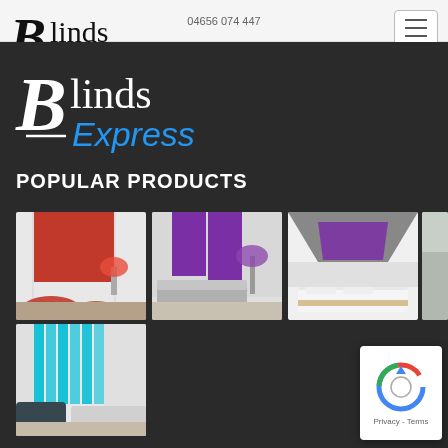04656 074 447
[Figure (logo): Blinds Express logo - black handwritten B with serif 'linds' and blue italic 'Express' text, top nav bar version]
[Figure (illustration): Hamburger menu button - three horizontal lines in a rounded rectangle]
[Figure (logo): Blinds Express logo - white version on dark background, larger size]
POPULAR PRODUCTS
[Figure (photo): Red roller blind on a window with red cushions and lamp in room setting]
[Figure (photo): Purple roller blind in a modern living room with purple lamp]
[Figure (photo): Purple skylight/roof blind in a bedroom with white bed]
[Figure (photo): Partially visible product image on the right side]
[Figure (photo): Teal/cyan vertical blinds in a living room with sofa]
[Figure (illustration): Google reCAPTCHA badge with circular arrow logo and Privacy - Terms text]